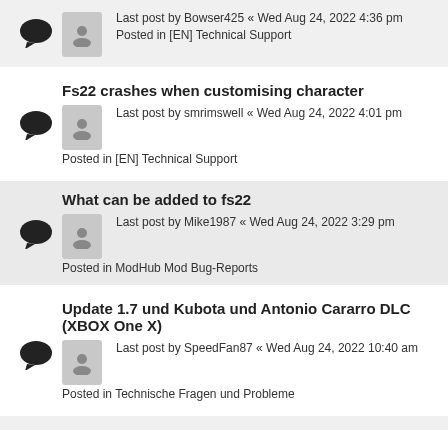Last post by Bowser425 « Wed Aug 24, 2022 4:36 pm
Posted in [EN] Technical Support
Fs22 crashes when customising character
Last post by smrimswell « Wed Aug 24, 2022 4:01 pm
Posted in [EN] Technical Support
What can be added to fs22
Last post by Mike1987 « Wed Aug 24, 2022 3:29 pm
Posted in ModHub Mod Bug-Reports
Update 1.7 und Kubota und Antonio Cararro DLC (XBOX One X)
Last post by SpeedFan87 « Wed Aug 24, 2022 10:40 am
Posted in Technische Fragen und Probleme